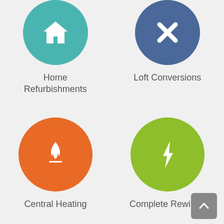[Figure (infographic): Teal circle icon with a house symbol, representing Home Refurbishments]
Home Refurbishments
[Figure (infographic): Blue circle icon with scissors/tools cross symbol, representing Loft Conversions]
Loft Conversions
[Figure (infographic): Orange circle icon with flame symbol, representing Central Heating]
Central Heating
[Figure (infographic): Green circle icon with lightning bolt symbol, representing Complete Rewiring]
Complete Rewiring